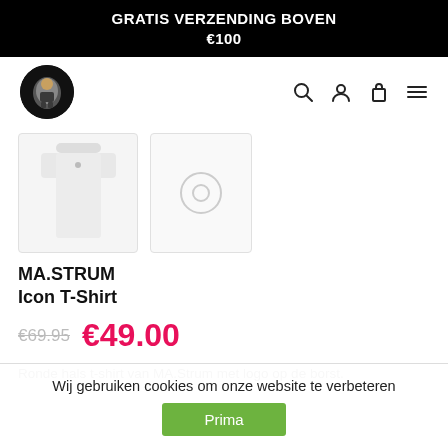GRATIS VERZENDING BOVEN €100
[Figure (logo): Round logo with illustrated character on black background]
[Figure (photo): White MA.STRUM t-shirt product thumbnail]
[Figure (photo): Second product view thumbnail with circle icon]
MA.STRUM Icon T-Shirt
€69.95  €49.00
Ronde hals t-shirt van MA.Strum met logo op de borst.
Wij gebruiken cookies om onze website te verbeteren